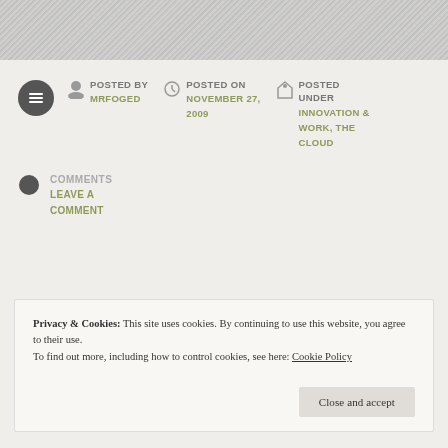[Figure (other): Top banner image, gray textured background]
POSTED BY
MRFOGED
POSTED ON
NOVEMBER 27, 2009
POSTED UNDER
INNOVATION & WORK, THE CLOUD
COMMENTS
LEAVE A COMMENT
Privacy & Cookies: This site uses cookies. By continuing to use this website, you agree to their use.
To find out more, including how to control cookies, see here: Cookie Policy
Close and accept